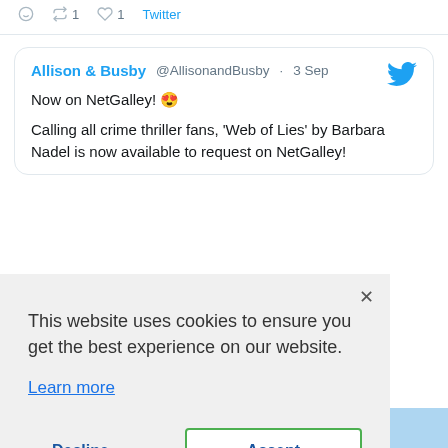◯  ↺1  ♡1  Twitter
Allison & Busby @AllisonandBusby · 3 Sep
Now on NetGalley! 😍

Calling all crime thriller fans, 'Web of Lies' by Barbara Nadel is now available to request on NetGalley!
This website uses cookies to ensure you get the best experience on our website.

Learn more

Decline  Accept
[Figure (logo): IES logo at bottom of page in teal, blue and red]